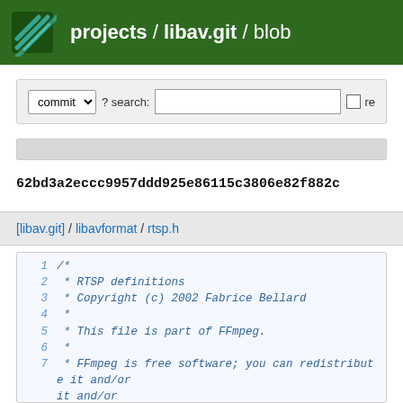projects / libav.git / blob
commit ? search: re
62bd3a2eccc9957ddd925e86115c3806e82f882c
[libav.git] / libavformat / rtsp.h
1 /*
2  * RTSP definitions
3  * Copyright (c) 2002 Fabrice Bellard
4  *
5  * This file is part of FFmpeg.
6  *
7  * FFmpeg is free software; you can redistribute it and/or
8  * modify it under the terms of the GNU Lesser General Public
9  * License as published by the Free Software Foundation; either